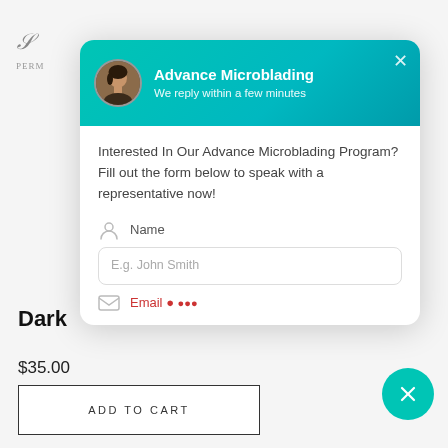[Figure (screenshot): Chat/contact widget popup overlay for Advance Microblading with a teal gradient header, avatar, close button, descriptive text, Name input field (E.g. John Smith), and partial Email field below.]
Interested In Our Advance Microblading Program? Fill out the form below to speak with a representative now!
Name
E.g. John Smith
Dark
$35.00
ADD TO CART